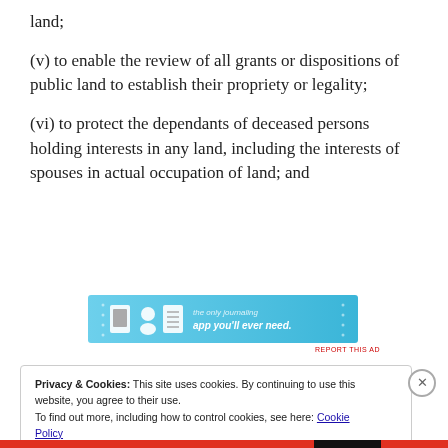land;
(v) to enable the review of all grants or dispositions of public land to establish their propriety or legality;
(vi) to protect the dependants of deceased persons holding interests in any land, including the interests of spouses in actual occupation of land; and
[Figure (screenshot): Advertisement banner with blue background showing app icons and text 'the only journaling app you'll ever need.']
REPORT THIS AD
Privacy & Cookies: This site uses cookies. By continuing to use this website, you agree to their use.
To find out more, including how to control cookies, see here: Cookie Policy
Close and accept